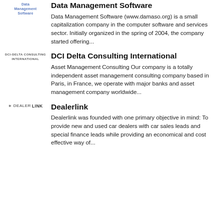[Figure (logo): Data Management Software logo - text logo in blue]
Data Management Software
Data Management Software (www.damaso.org) is a small capitalization company in the computer software and services sector. Initially organized in the spring of 2004, the company started offering...
[Figure (logo): DCI Delta Consulting International logo - small caps text logo]
DCI Delta Consulting International
Asset Management Consulting Our company is a totally independent asset management consulting company based in Paris, in France, we operate with major banks and asset management company worldwide...
[Figure (logo): Dealerlink logo with star symbol]
Dealerlink
Dealerlink was founded with one primary objective in mind: To provide new and used car dealers with car sales leads and special finance leads while providing an economical and cost effective way of...